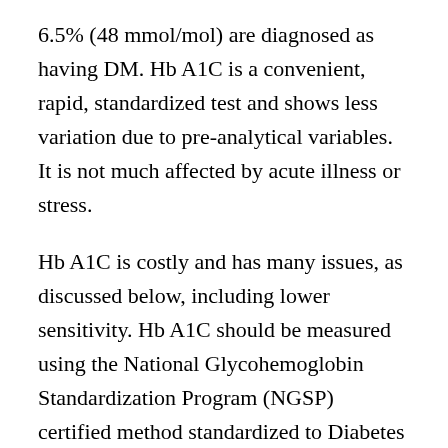6.5% (48 mmol/mol) are diagnosed as having DM. Hb A1C is a convenient, rapid, standardized test and shows less variation due to pre-analytical variables. It is not much affected by acute illness or stress.
Hb A1C is costly and has many issues, as discussed below, including lower sensitivity. Hb A1C should be measured using the National Glycohemoglobin Standardization Program (NGSP) certified method standardized to Diabetes Control and Complications Trial (DCCT) assay. It is affected by numerous conditions such as sickle cell disease, pregnancy, hemodialysis, blood loss or transfusion, or erythropoietin therapy. It has not been well validated in